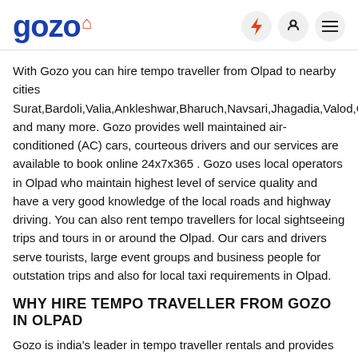gozo [logo with location pin icon] [lightning bolt icon] [phone icon] [menu icon]
With Gozo you can hire tempo traveller from Olpad to nearby cities Surat,Bardoli,Valia,Ankleshwar,Bharuch,Navsari,Jhagadia,Valod,Gandevi,Vya and many more. Gozo provides well maintained air-conditioned (AC) cars, courteous drivers and our services are available to book online 24x7x365 . Gozo uses local operators in Olpad who maintain highest level of service quality and have a very good knowledge of the local roads and highway driving. You can also rent tempo travellers for local sightseeing trips and tours in or around the Olpad. Our cars and drivers serve tourists, large event groups and business people for outstation trips and also for local taxi requirements in Olpad.
WHY HIRE TEMPO TRAVELLER FROM GOZO IN OLPAD
Gozo is india's leader in tempo traveller rentals and provides services in over 3000 towns & cities along over 50,000 intercity routes in the nation.
Whe...